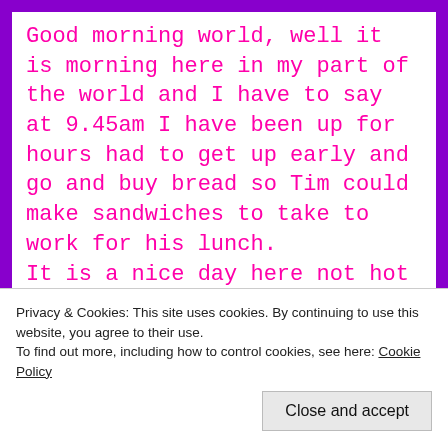Good morning world, well it is morning here in my part of the world and I have to say at 9.45am I have been up for hours had to get up early and go and buy bread so Tim could make sandwiches to take to work for his lunch.

It is a nice day here not hot at all quiet pleasant I have to say,
Privacy & Cookies: This site uses cookies. By continuing to use this website, you agree to their use. To find out more, including how to control cookies, see here: Cookie Policy
Close and accept